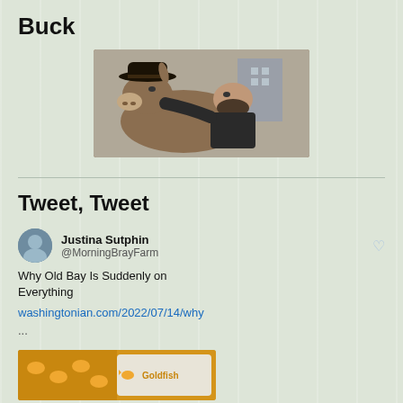Buck
[Figure (photo): A man leaning close to a donkey wearing a cowboy hat, outdoors.]
Tweet, Tweet
Justina Sutphin
@MorningBrayFarm
Why Old Bay Is Suddenly on Everything
washingtonian.com/2022/07/14/why
...
[Figure (photo): Thumbnail image showing Goldfish crackers and other snack items.]